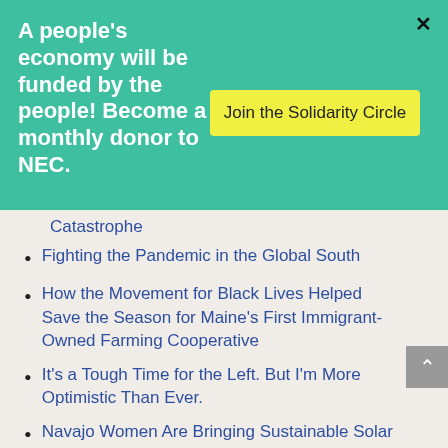A people's economy will be funded by the people! Become a monthly donor to NEC.
Join the Solidarity Circle
Catastrophe
Fighting the Pandemic in the Global South
How the Movement for Black Lives Helped Save the Season for Maine's First Immigrant-Owned Farming Cooperative
It's a Tough Time for the Left. But I'm More Optimistic Than Ever.
Navajo Women Are Bringing Sustainable Solar Power to the Navajo Nation